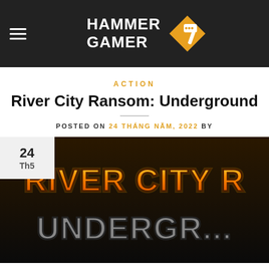HAMMER GAMER
ACTION
River City Ransom: Underground
POSTED ON 24 THÁNG NĂM, 2022 BY
[Figure (photo): River City Ransom Underground game title card showing stylized text logo with orange/yellow gradient 'RIVER CITY R...' on top and grey 'UNDERGR...' below, on dark background. A date badge overlay shows '24 Th5' in the top left corner.]